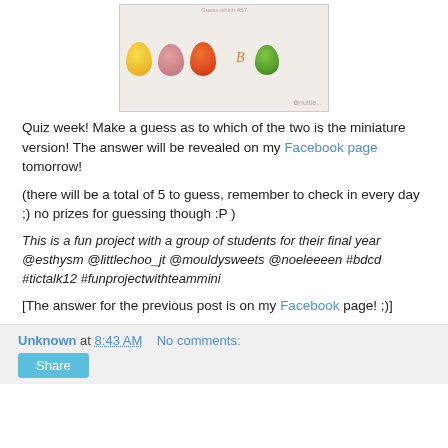[Figure (photo): Photo of five candy/jellybean-like objects in a row on a white surface: yellow-orange speckled, pink/mauve, orange-red, with letter B visible, and green. A watermark appears at bottom right.]
Quiz week! Make a guess as to which of the two is the miniature version! The answer will be revealed on my Facebook page tomorrow!
(there will be a total of 5 to guess, remember to check in every day ;) no prizes for guessing though :P )
This is a fun project with a group of students for their final year @esthysm @littlechoo_jt @mouldysweets @noeleeeen #bdcd #tictalk12 #funprojectwithteammini
[The answer for the previous post is on my Facebook page! ;)]
Unknown at 8:43 AM   No comments: